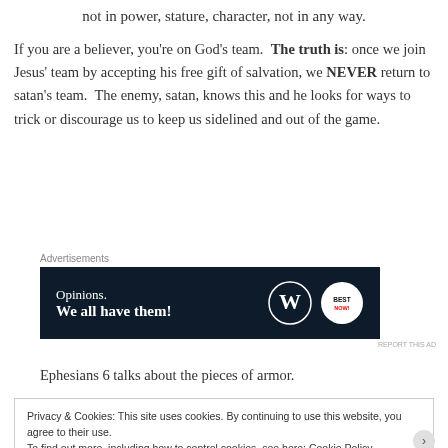not in power, stature, character, not in any way.
If you are a believer, you’re on God’s team. The truth is: once we join Jesus’ team by accepting his free gift of salvation, we NEVER return to satan’s team. The enemy, satan, knows this and he looks for ways to trick or discourage us to keep us sidelined and out of the game.
[Figure (screenshot): Advertisement banner with dark navy background showing 'Opinions. We all have them!' text with WordPress and Best logo icons.]
Ephesians 6 talks about the pieces of armor.
Privacy & Cookies: This site uses cookies. By continuing to use this website, you agree to their use. To find out more, including how to control cookies, see here: Cookie Policy
Close and accept